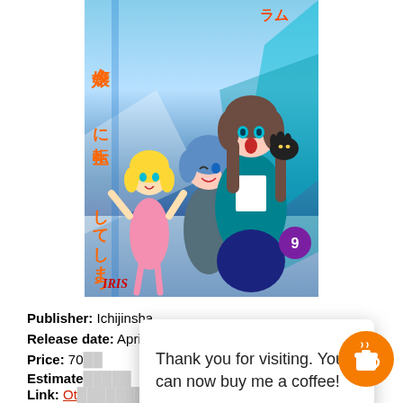[Figure (illustration): Manga/light novel book cover for Volume 9, showing anime-style characters including a brown-haired girl in teal school uniform holding a black cat, a blue-haired character, and a small blonde character in a pink dress. Japanese title text on left side. Publisher logo IRIS at bottom left. Number 9 in purple circle at lower right.]
Publisher: Ichijinsha
Release date: April 2020
Price: 70(obscured)
Estimate(obscured)
Link: Ot(obscured)ai
Thank you for visiting. You can now buy me a coffee!
Akuyaku Reijou ni Tensei shiteshimatta... Vol. 9